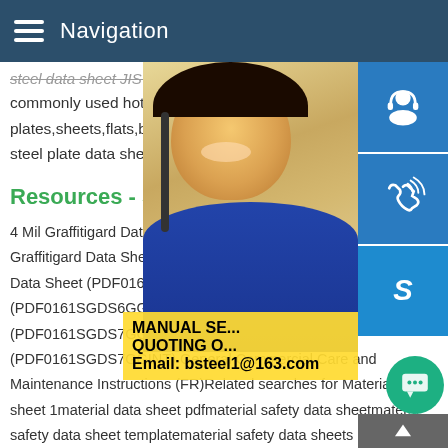Navigation
steel data sheet JIS G3101 SS400 steel is commonly used hot rolled general structural plates,sheets,flats,bars,sections etc.SS400 steel plate data sheet
Resources - Specification She...
4 Mil Graffitigard Data Sheet (PDF0161SG...) Graffitigard Data Sheet (PDF0161SGDS4...) Data Sheet (PDF0161SGDS6GG) 6mil Gr... (PDF0161SGDS6GGINT) 7mil Graffitigard... (PDF0161SGDS7GG) 7mil Graffitigard Data Sheet (PDF0161SGDS7GGINT) General Commercial Care and Maintenance Instructions (FR)Related searches for Material data sheet 1material data sheet pdfmaterial safety data sheetmaterial safety data sheet templatematerial safety data sheets lookuppolyurethane resin material data sheetmsds material safety data sheetsnp 1
[Figure (photo): Customer service representative woman with headset, smiling]
[Figure (infographic): Three blue icon buttons on right side: headset/support icon, phone/call icon, Skype icon]
MANUAL SE... QUOTING O... Email: bsteel1@163.com